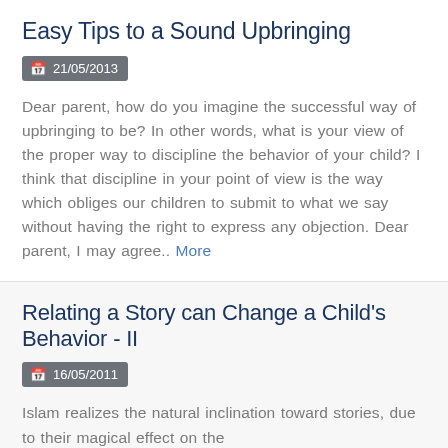Easy Tips to a Sound Upbringing
21/05/2013
Dear parent, how do you imagine the successful way of upbringing to be? In other words, what is your view of the proper way to discipline the behavior of your child? I think that discipline in your point of view is the way which obliges our children to submit to what we say without having the right to express any objection. Dear parent, I may agree.. More
Relating a Story can Change a Child's Behavior - II
16/05/2011
Islam realizes the natural inclination toward stories, due to their magical effect on the